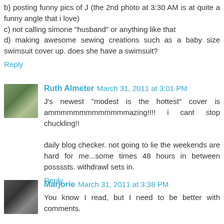b) posting funny pics of J (the 2nd photo at 3:30 AM is at quite a funny angle that i love)
c) not calling simone "husband" or anything like that
d) making awesome sewing creations such as a baby size swimsuit cover up. does she have a swimsuit?
Reply
Ruth Almeter  March 31, 2011 at 3:01 PM
J's newest "modest is the hottest" cover is ammmmmmmmmmmmmazing!!!! i cant stop chuckling!!

daily blog checker. not going to lie the weekends are hard for me...some times 48 hours in between possssts. withdrawl sets in.
Reply
Marjorie  March 31, 2011 at 3:38 PM
You know I read, but I need to be better with comments.